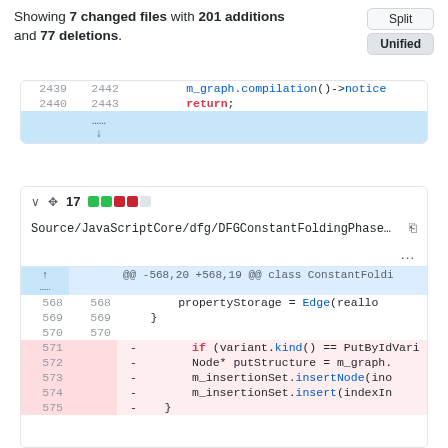Showing 7 changed files with 201 additions and 77 deletions.
[Figure (screenshot): Code diff panel showing lines 2439-2440 / 2442-2443 with m_graph.compilation()->notice and return; followed by an expand row]
[Figure (screenshot): File diff header for Source/JavaScriptCore/dfg/DFGConstantFoldingPhase... showing 17 changes with green/red indicators, file path, copy icon, ellipsis menu, hunk header @@ -568,20 +568,19 @@ class ConstantFoldi, and diff lines 568-575]